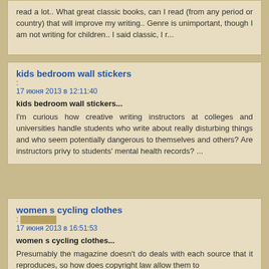read a lot.. What great classic books, can I read (from any period or country) that will improve my writing.. Genre is unimportant, though I am not writing for children.. I said classic, I r...
kids bedroom wall stickers
: 17 июня 2013 в 12:11:40
kids bedroom wall stickers...
I'm curious how creative writing instructors at colleges and universities handle students who write about really disturbing things and who seem potentially dangerous to themselves and others? Are instructors privy to students' mental health records? ...
women s cycling clothes
: 17 июня 2013 в 16:51:53
women s cycling clothes...
Presumably the magazine doesn't do deals with each source that it reproduces, so how does copyright law allow them to